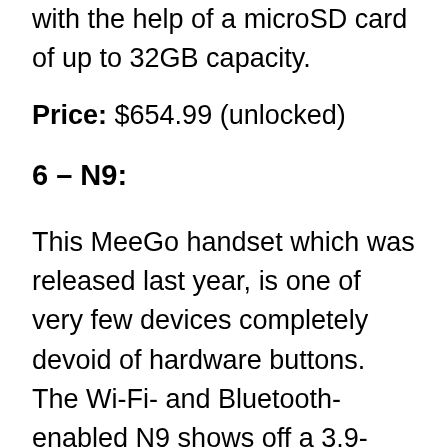with the help of a microSD card of up to 32GB capacity.
Price: $654.99 (unlocked)
6 – N9:
This MeeGo handset which was released last year, is one of very few devices completely devoid of hardware buttons. The Wi-Fi- and Bluetooth-enabled N9 shows off a 3.9-inch multi-touch display and employs an 8MP camera with features like LED flash as well as Carl